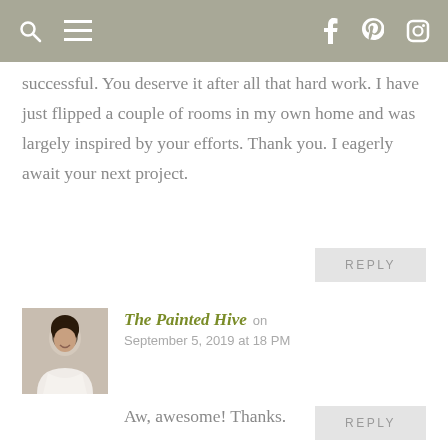Navigation bar with search, menu, Facebook, Pinterest, Instagram icons
successful. You deserve it after all that hard work. I have just flipped a couple of rooms in my own home and was largely inspired by your efforts. Thank you. I eagerly await your next project.
REPLY
The Painted Hive on September 5, 2019 at 18 PM
Aw, awesome! Thanks.
REPLY